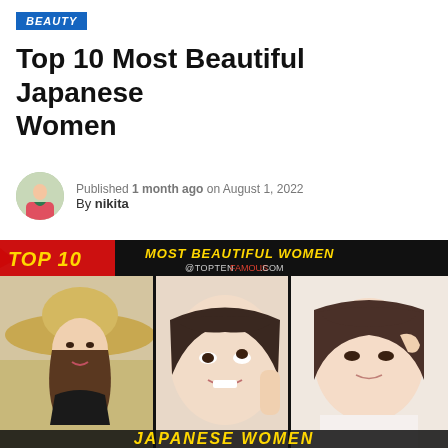BEAUTY
Top 10 Most Beautiful Japanese Women
Published 1 month ago on August 1, 2022
By nikita
[Figure (photo): Top 10 Most Beautiful Japanese Women thumbnail image showing three Japanese women with banner text 'TOP 10 MOST BEAUTIFUL WOMEN @TOPTENFAMOUS.COM' and bottom text 'JAPANESE WOMEN']